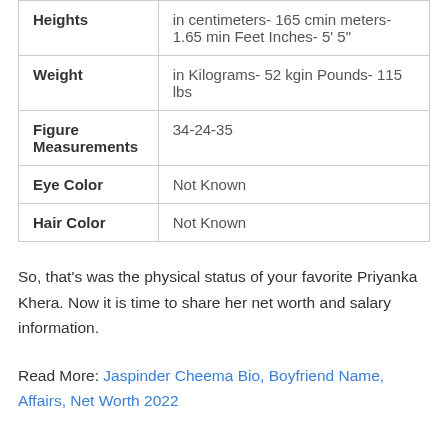|  |  |
| --- | --- |
| Heights | in centimeters- 165 cmin meters- 1.65 min Feet Inches- 5' 5" |
| Weight | in Kilograms- 52 kgin Pounds- 115 lbs |
| Figure Measurements | 34-24-35 |
| Eye Color | Not Known |
| Hair Color | Not Known |
So, that's was the physical status of your favorite Priyanka Khera. Now it is time to share her net worth and salary information.
Read More: Jaspinder Cheema Bio, Boyfriend Name, Affairs, Net Worth 2022